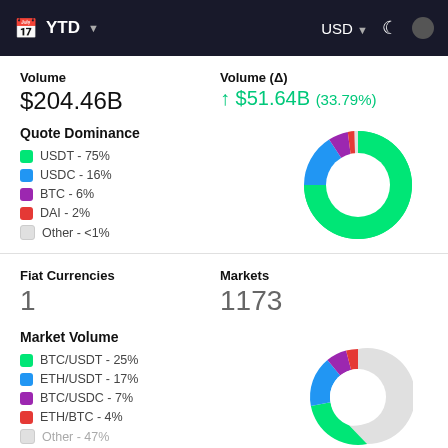YTD  USD
Volume
$204.46B
Volume (Δ)
↑ $51.64B (33.79%)
Quote Dominance
USDT - 75%
USDC - 16%
BTC - 6%
DAI - 2%
Other - <1%
[Figure (donut-chart): Quote Dominance]
Fiat Currencies
1
Markets
1173
Market Volume
BTC/USDT - 25%
ETH/USDT - 17%
BTC/USDC - 7%
ETH/BTC - 4%
Other - 47%
[Figure (donut-chart): Market Volume]